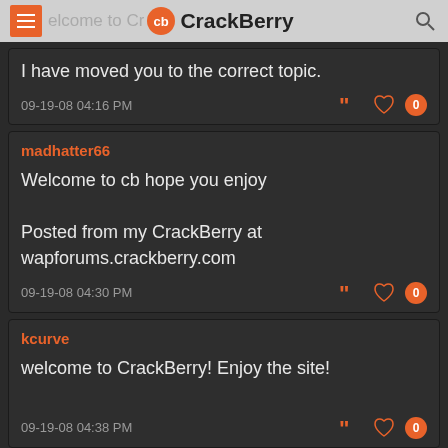CrackBerry
I have moved you to the correct topic.
09-19-08 04:16 PM
madhatter66
Welcome to cb hope you enjoy

Posted from my CrackBerry at wapforums.crackberry.com
09-19-08 04:30 PM
kcurve
welcome to CrackBerry! Enjoy the site!
09-19-08 04:38 PM